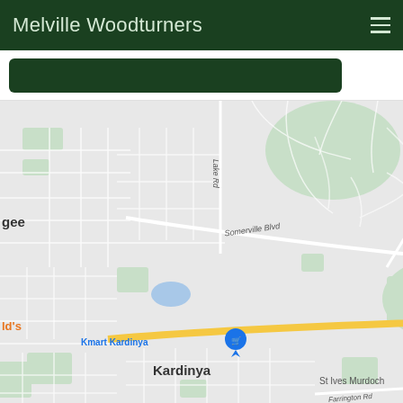Melville Woodturners
[Figure (map): Google Maps screenshot showing suburban area of Perth, Australia including Winthrop, Kardinya, and Murdoch neighborhoods with roads such as Somerville Blvd, Lake Rd, Winthrop Dr, Jackson Ave, Murdoch Dr, South St, Prescott Dr, and landmarks including Piney Lakes Reserve, Morris Buzacott Reserve, Murdoch University, Kmart Kardinya, South Metropolitan TAFE Murdoch Campus, St Ives Murdoch.]